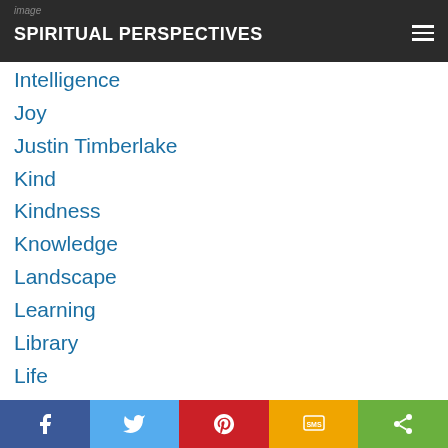SPIRITUAL PERSPECTIVES
Intelligence
Joy
Justin Timberlake
Kind
Kindness
Knowledge
Landscape
Learning
Library
Life
Light
Like
Listening
Local
Long Time Exposure
Social share bar: Facebook, Twitter, Pinterest, SMS, Share